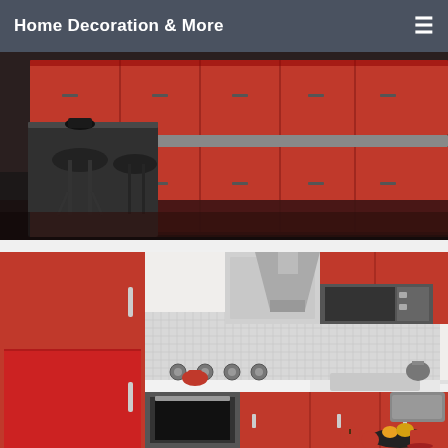Home Decoration & More
[Figure (photo): Modern kitchen with glossy red cabinets, dark countertops, black bar stools, and reflective dark floor. Dramatic red cabinetry fills the background with overhead storage visible.]
[Figure (photo): Bright kitchen with glossy red cabinets, white countertop, mosaic tile backsplash, stainless steel range hood, microwave, gas hob, and oven. Red decorative accessories on the counter.]